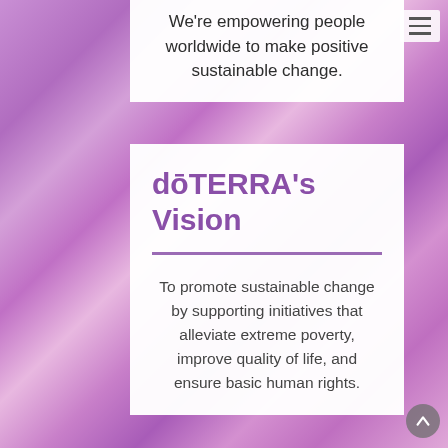We're empowering people worldwide to make positive sustainable change.
dōTERRA's Vision
To promote sustainable change by supporting initiatives that alleviate extreme poverty, improve quality of life, and ensure basic human rights.